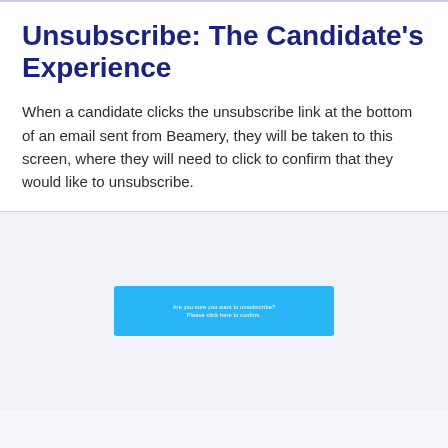Unsubscribe: The Candidate's Experience
When a candidate clicks the unsubscribe link at the bottom of an email sent from Beamery, they will be taken to this screen, where they will need to click to confirm that they would like to unsubscribe.
[Figure (screenshot): A blue confirmation button/banner for unsubscribe action with two lines of white text]